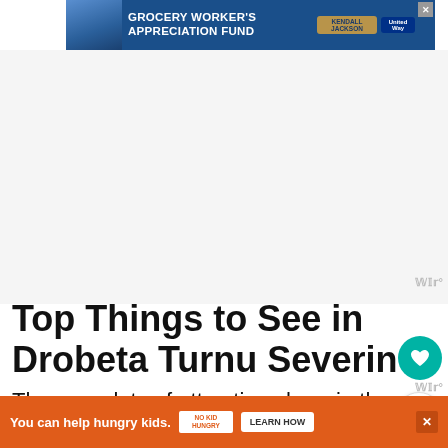[Figure (screenshot): Grocery Worker's Appreciation Fund advertisement banner with blue background, person image on left, Kendall Jackson and United Way logos]
Top Things to See in Drobeta Turnu Severin
There are lots of attractions here in the city, but I will take a different approach, not only listing the most famous ones.
[Figure (screenshot): No Kid Hungry advertisement banner with orange background: 'You can help hungry kids. LEARN HOW']